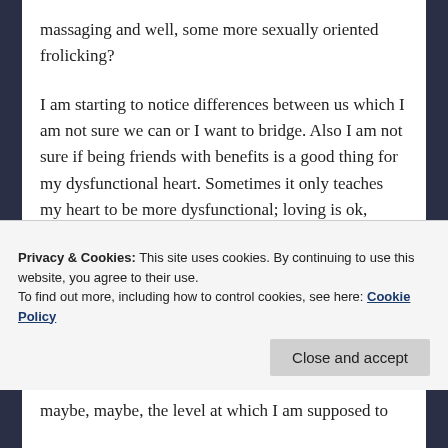massaging and well, some more sexually oriented frolicking?
I am starting to notice differences between us which I am not sure we can or I want to bridge. Also I am not sure if being friends with benefits is a good thing for my dysfunctional heart. Sometimes it only teaches my heart to be more dysfunctional; loving is ok, receiving is impossible. Addict trait; don't touch me. My heart is shut.
Workwise I am still lost on what and where. The social security people have put me at the bottom of the pile. I guess this is because I start crying every time they ask a question…. sigh, how will I ever be 'normal' again? I just don't know what I want. I want a simple job in a safe
Privacy & Cookies: This site uses cookies. By continuing to use this website, you agree to their use.
To find out more, including how to control cookies, see here: Cookie Policy
maybe, maybe, the level at which I am supposed to